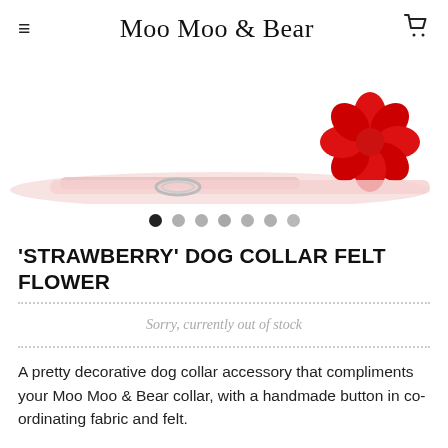Moo Moo & Bear
[Figure (photo): Partial view of a dog collar with a red felt flower accessory on a white background.]
[Figure (other): Carousel dot navigation: 7 dots, first one filled black, rest grey.]
'STRAWBERRY' DOG COLLAR FELT FLOWER
Sorry, currently out of stock
A pretty decorative dog collar accessory that compliments your Moo Moo & Bear collar, with a handmade button in co-ordinating fabric and felt.